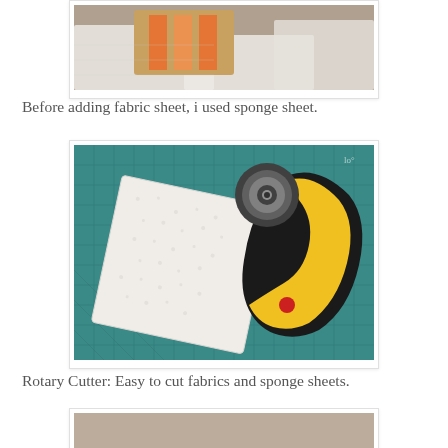[Figure (photo): Photo of fabric pieces and a wooden block with orange and white stripes on a gray surface]
Before adding fabric sheet, i used sponge sheet.
[Figure (photo): Photo of a white sponge sheet and a yellow rotary cutter on a teal cutting mat]
Rotary Cutter: Easy to cut fabrics and sponge sheets.
[Figure (photo): Partial photo at bottom of page]